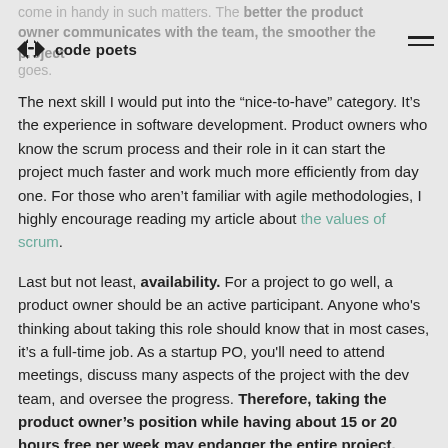code poets
come in handy in such matters. The better the product owner communicates with the team, the smoother the project goes.
The next skill I would put into the “nice-to-have” category. It’s the experience in software development. Product owners who know the scrum process and their role in it can start the project much faster and work much more efficiently from day one. For those who aren’t familiar with agile methodologies, I highly encourage reading my article about the values of scrum.
Last but not least, availability. For a project to go well, a product owner should be an active participant. Anyone who's thinking about taking this role should know that in most cases, it’s a full-time job. As a startup PO, you'll need to attend meetings, discuss many aspects of the project with the dev team, and oversee the progress. Therefore, taking the product owner’s position while having about 15 or 20 hours free per week may endanger the entire project.
What if no one can take the role